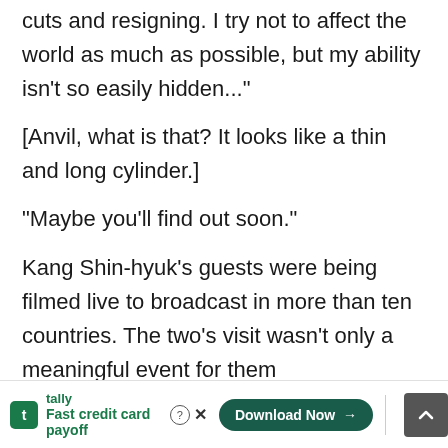cuts and resigning. I try not to affect the world as much as possible, but my ability isn't so easily hidden...”
[Anvil, what is that? It looks like a thin and long cylinder.]
“Maybe you’ll find out soon.”
Kang Shin-hyuk’s guests were being filmed live to broadcast in more than ten countries. The two’s visit wasn’t only a meaningful event for them
[Figure (other): Advertisement banner for Tally app: 'Fast credit card payoff' with Download Now button]